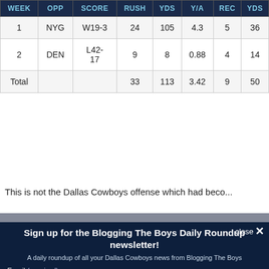| WEEK | OPP | SCORE | RUSH | YDS | Y/A | REC | YDS |
| --- | --- | --- | --- | --- | --- | --- | --- |
| 1 | NYG | W19-3 | 24 | 105 | 4.3 | 5 | 36 |
| 2 | DEN | L42-17 | 9 | 8 | 0.88 | 4 | 14 |
| Total |  |  | 33 | 113 | 3.42 | 9 | 50 |
This is not the Dallas Cowboys offense which had become...
close ✕
Sign up for the Blogging The Boys Daily Roundup newsletter!
A daily roundup of all your Dallas Cowboys news from Blogging The Boys
Email (required)
SUBSCRIBE
By submitting your email, you agree to our Terms and Privacy Notice. You can opt out at any time. This site is protected by reCAPTCHA and the Google Privacy Policy and Terms of Service apply.